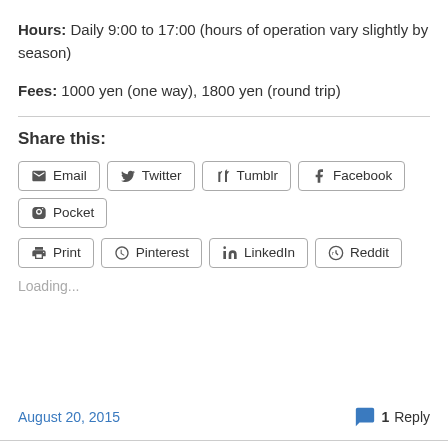Hours: Daily 9:00 to 17:00 (hours of operation vary slightly by season)
Fees: 1000 yen (one way), 1800 yen (round trip)
Share this:
Email  Twitter  Tumblr  Facebook  Pocket  Print  Pinterest  LinkedIn  Reddit
Loading...
August 20, 2015   1 Reply